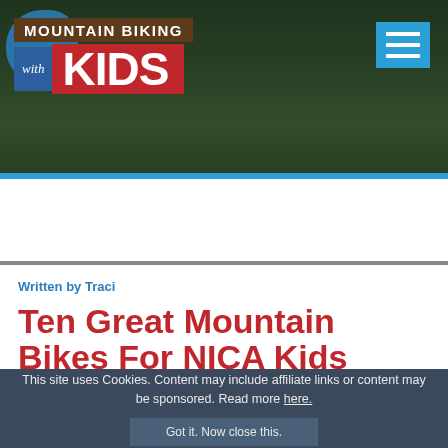[Figure (screenshot): Mountain Biking with Kids website header banner with forest background, logo, and hamburger menu icon]
[Figure (infographic): Yellow advertisement banner: SHOP FOR BIKES IN STOCK - Balance Bikes Through 29ers for Teens + Adults, Mountain Biking with Kids logo]
Written by Traci
Ten Great Mountain Bikes For NICA Kids
This site uses Cookies. Content may include affiliate links or content may be sponsored. Read more here.
Got it. Now close this.